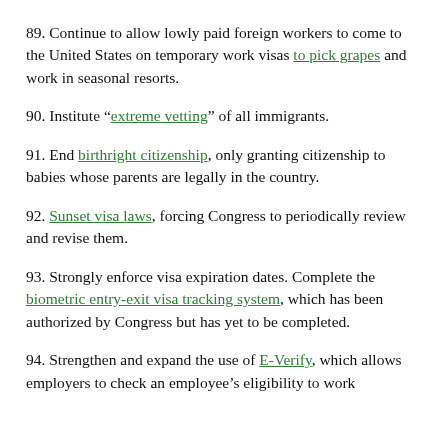89. Continue to allow lowly paid foreign workers to come to the United States on temporary work visas to pick grapes and work in seasonal resorts.
90. Institute "extreme vetting" of all immigrants.
91. End birthright citizenship, only granting citizenship to babies whose parents are legally in the country.
92. Sunset visa laws, forcing Congress to periodically review and revise them.
93. Strongly enforce visa expiration dates. Complete the biometric entry-exit visa tracking system, which has been authorized by Congress but has yet to be completed.
94. Strengthen and expand the use of E-Verify, which allows employers to check an employee's eligibility to work